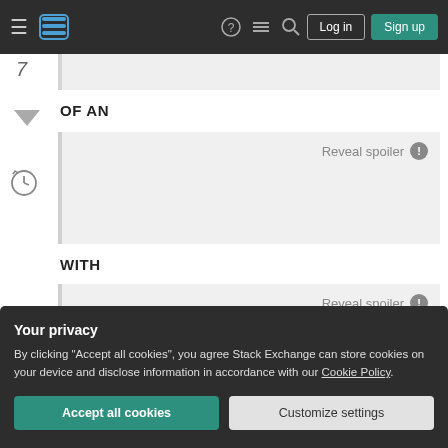Stack Exchange navigation bar with Log in and Sign up buttons
7
OF AN
[Figure (screenshot): Spoiler block with 'Reveal spoiler' button and info icon]
WITH
[Figure (screenshot): Partially visible spoiler block with 'Reveal spoiler' text]
Your privacy
By clicking "Accept all cookies", you agree Stack Exchange can store cookies on your device and disclose information in accordance with our Cookie Policy.
Accept all cookies
Customize settings